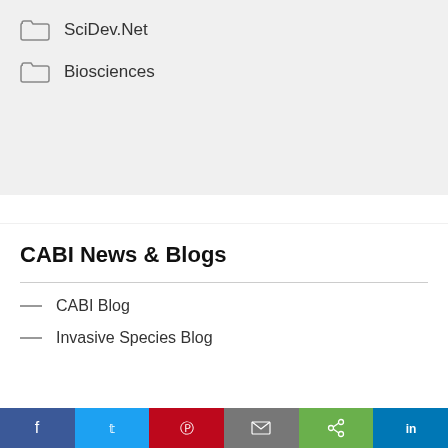SciDev.Net
Biosciences
CABI News & Blogs
CABI Blog
Invasive Species Blog
Like most websites we use cookies. This is to ensure that we give you the best experience possible. Continuing to use CABI.org means you agree to our use of cookies. If you would like to, you can learn more about the cookies we use here.